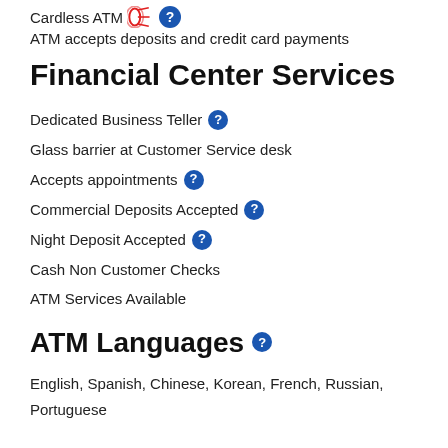Cardless ATM
ATM accepts deposits and credit card payments
Financial Center Services
Dedicated Business Teller
Glass barrier at Customer Service desk
Accepts appointments
Commercial Deposits Accepted
Night Deposit Accepted
Cash Non Customer Checks
ATM Services Available
ATM Languages
English, Spanish, Chinese, Korean, French, Russian, Portuguese